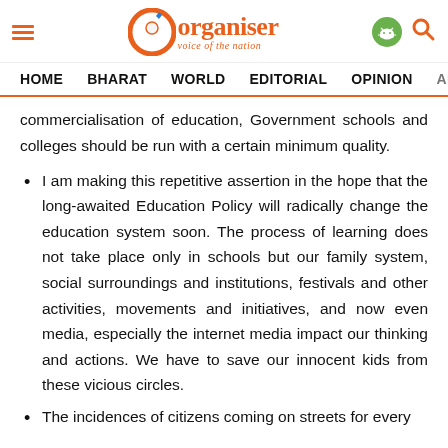Organiser – voice of the nation | HOME | BHARAT | WORLD | EDITORIAL | OPINION | ANA…
commercialisation of education, Government schools and colleges should be run with a certain minimum quality.
I am making this repetitive assertion in the hope that the long-awaited Education Policy will radically change the education system soon. The process of learning does not take place only in schools but our family system, social surroundings and institutions, festivals and other activities, movements and initiatives, and now even media, especially the internet media impact our thinking and actions. We have to save our innocent kids from these vicious circles.
The incidences of citizens coming on streets for every